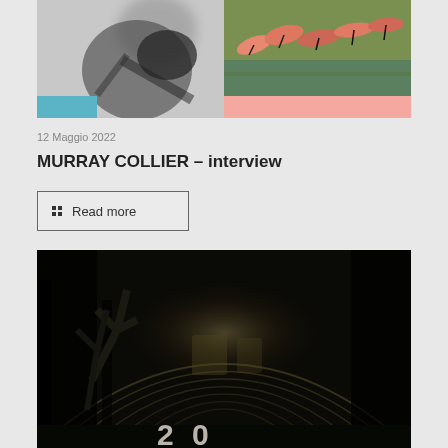[Figure (photo): Two composite images side by side: left is a black and white blurred silhouette (possibly a person with equipment), right is a colorful image of flamingos or similar birds in flight. Both have color bars at the bottom — left has a teal/cyan bar, right has a salmon/pink bar.]
12 Maggio 2022
MURRAY COLLIER – interview
Read more
[Figure (photo): Dark atmospheric photo of an abandoned tunnel or warehouse interior with arched ceiling ribs, trees or vegetation inside, and faint text at the bottom.]